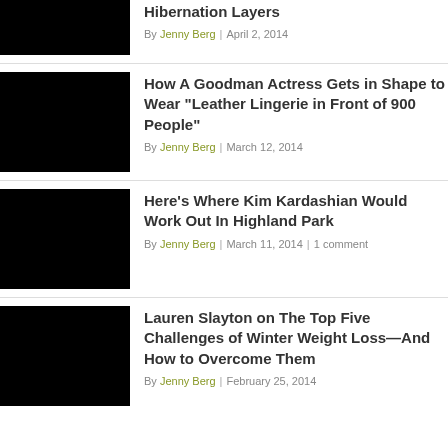[Figure (photo): Black thumbnail image for article about Hibernation Layers]
Hibernation Layers
By Jenny Berg | April 2, 2014
[Figure (photo): Black thumbnail image for article about Goodman Actress]
How A Goodman Actress Gets in Shape to Wear "Leather Lingerie in Front of 900 People"
By Jenny Berg | March 12, 2014
[Figure (photo): Black thumbnail image for Kim Kardashian article]
Here's Where Kim Kardashian Would Work Out In Highland Park
By Jenny Berg | March 11, 2014 | 1 comment
[Figure (photo): Black thumbnail image for Lauren Slayton article]
Lauren Slayton on The Top Five Challenges of Winter Weight Loss—And How to Overcome Them
By Jenny Berg | February 25, 2014